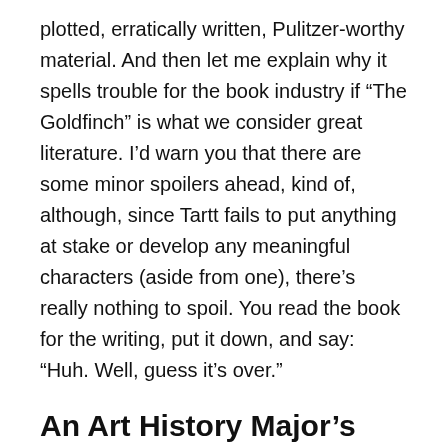plotted, erratically written, Pulitzer-worthy material. And then let me explain why it spells trouble for the book industry if “The Goldfinch” is what we consider great literature. I’d warn you that there are some minor spoilers ahead, kind of, although, since Tartt fails to put anything at stake or develop any meaningful characters (aside from one), there’s really nothing to spoil. You read the book for the writing, put it down, and say: “Huh. Well, guess it’s over.”
An Art History Major’s Paradise
Let’s get one thing straight: “The Goldfinch” is about a painting. Kind of. It’s also about the thrilling world of antique refurbishment, with a decided focus on furniture. Are you at the edge of your seat yet? Don’t